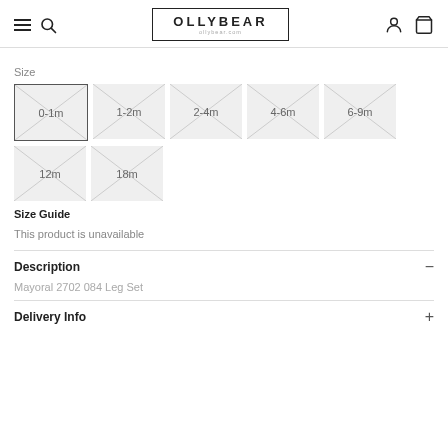OLLYBEAR
Size
0-1m | 1-2m | 2-4m | 4-6m | 6-9m | 12m | 18m
Size Guide
This product is unavailable
Description
Mayoral 2702 084 Leg Set
Delivery Info